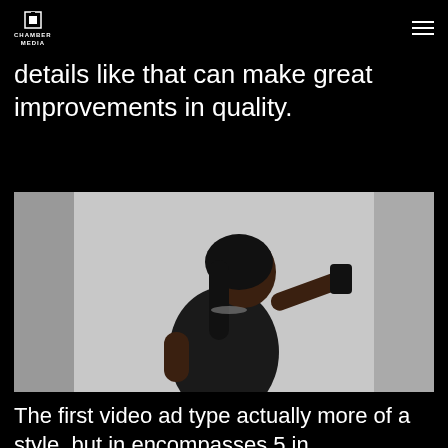Chamber Media
details like that can make great improvements in quality.
[Figure (photo): A person wearing a black shirt taking a selfie with their phone against a light grey/white background, leaning and posing.]
The first video ad type actually more of a style, but in encompasses 5 in